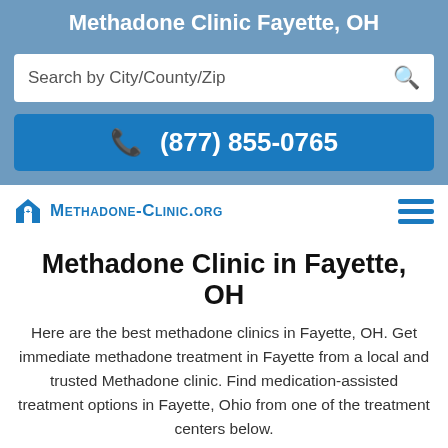Methadone Clinic Fayette, OH
Search by City/County/Zip
(877) 855-0765
Methadone-Clinic.org
Methadone Clinic in Fayette, OH
Here are the best methadone clinics in Fayette, OH. Get immediate methadone treatment in Fayette from a local and trusted Methadone clinic. Find medication-assisted treatment options in Fayette, Ohio from one of the treatment centers below.